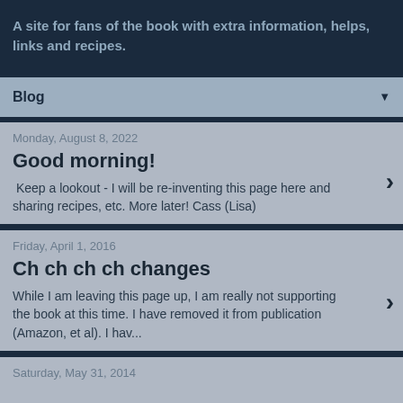A site for fans of the book with extra information, helps, links and recipes.
Blog
Monday, August 8, 2022
Good morning!
Keep a lookout - I will be re-inventing this page here and sharing recipes, etc.  More later! Cass (Lisa)
Friday, April 1, 2016
Ch ch ch ch changes
While I am leaving this page up, I am really not supporting the book at this time. I have removed it from publication (Amazon, et al). I hav...
Saturday, May 31, 2014